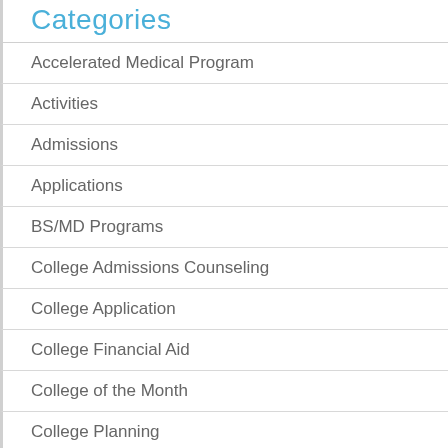Categories
Accelerated Medical Program
Activities
Admissions
Applications
BS/MD Programs
College Admissions Counseling
College Application
College Financial Aid
College of the Month
College Planning
College Selection
College Testing
Doctor Shadowing